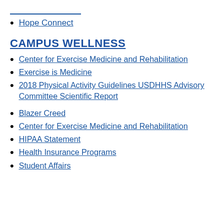Hope Connect
CAMPUS WELLNESS
Center for Exercise Medicine and Rehabilitation
Exercise is Medicine
2018 Physical Activity Guidelines USDHHS Advisory Committee Scientific Report
Blazer Creed
Center for Exercise Medicine and Rehabilitation
HIPAA Statement
Health Insurance Programs
Student Affairs